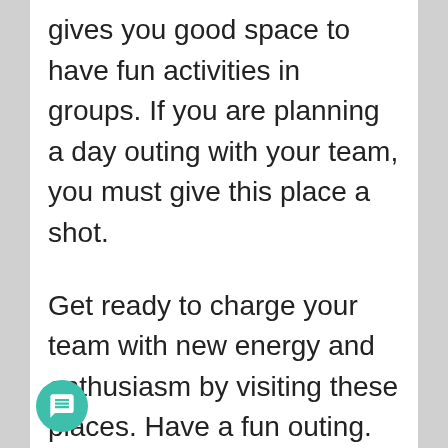gives you good space to have fun activities in groups. If you are planning a day outing with your team, you must give this place a shot.
Get ready to charge your team with new energy and enthusiasm by visiting these places. Have a fun outing.
12. Explore Ramoji Film City